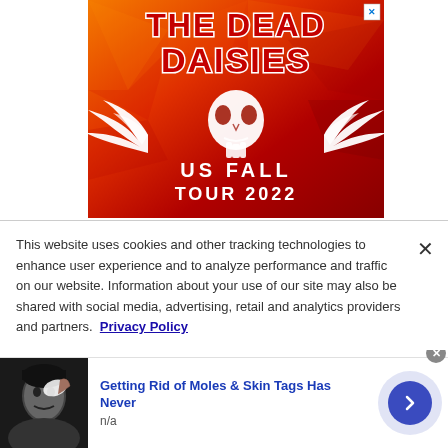[Figure (illustration): The Dead Daisies US Fall Tour 2022 advertisement banner with orange/red gradient background, band logo text and winged skull graphic]
This website uses cookies and other tracking technologies to enhance user experience and to analyze performance and traffic on our website. Information about your use of our site may also be shared with social media, advertising, retail and analytics providers and partners. Privacy Policy
[Figure (infographic): Bottom advertisement strip showing a woman applying something to her face/mole area, with title 'Getting Rid of Moles & Skin Tags Has Never' and subtitle 'n/a', and a blue circular arrow button]